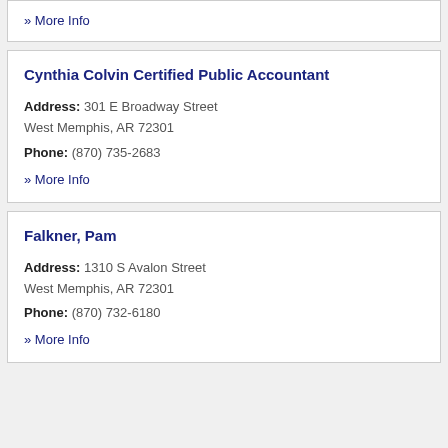» More Info
Cynthia Colvin Certified Public Accountant
Address: 301 E Broadway Street West Memphis, AR 72301
Phone: (870) 735-2683
» More Info
Falkner, Pam
Address: 1310 S Avalon Street West Memphis, AR 72301
Phone: (870) 732-6180
» More Info